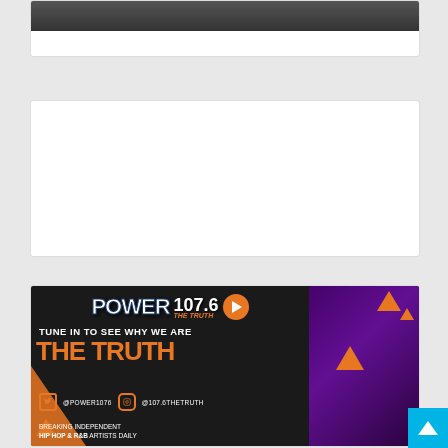[Figure (photo): Partially visible dark image strip at the top of the page, cropped card]
[Figure (photo): Blank white advertisement placeholder card in the middle]
[Figure (illustration): Power 107.6 The Truth radio station advertisement on dark background with orange geometric shapes. Text reads: TUNE IN TO SEE WHY WE ARE THE TRUTH. @POWER1076 @107.6THETRUTH. BREAKING INDEPENDENT HIP HOP & R&B ARTISTS DAILY. Purple photo of DJ/musician on right side.]